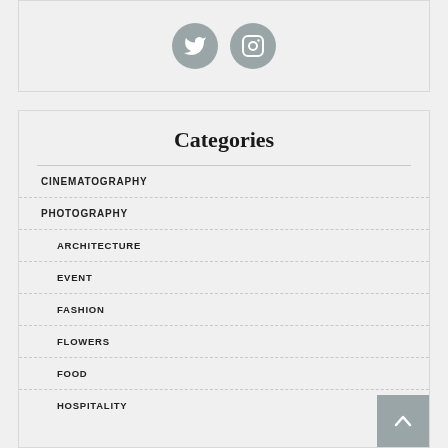[Figure (other): Social media icons: Twitter (bird) and Instagram (camera) as grey circular buttons]
Categories
CINEMATOGRAPHY
PHOTOGRAPHY
ARCHITECTURE
EVENT
FASHION
FLOWERS
FOOD
HOSPITALITY